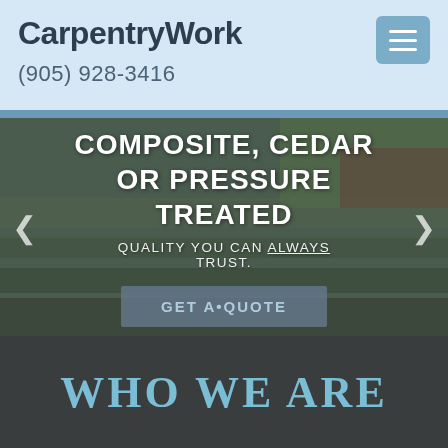CarpentryWork
(905) 928-3416
[Figure (screenshot): Hero image of a deck/carpentry background with text overlay: COMPOSITE, CEDAR OR PRESSURE TREATED. QUALITY YOU CAN ALWAYS TRUST. GET A QUOTE button.]
WHO WE ARE